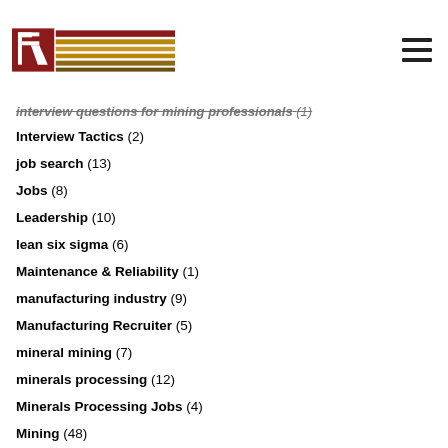RE logo and navigation
interview questions for mining professionals (1)
Interview Tactics (2)
job search (13)
Jobs (8)
Leadership (10)
lean six sigma (6)
Maintenance & Reliability (1)
manufacturing industry (9)
Manufacturing Recruiter (5)
mineral mining (7)
minerals processing (12)
Minerals Processing Jobs (4)
Mining (48)
mining automation (4)
mining engineer career ladder (3)